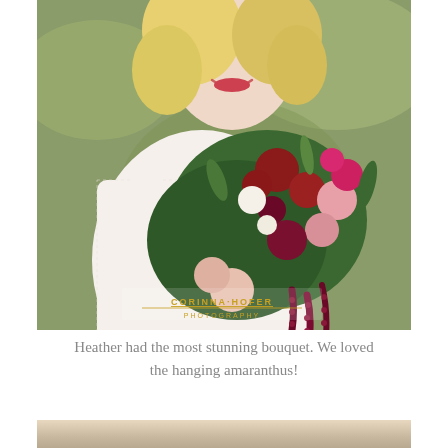[Figure (photo): A bride in a white lace long-sleeve wedding dress holding a large, lush bridal bouquet with red roses, pink roses, deep red dahlias, burgundy amaranthus hanging strands, and greenery. She is smiling and looking off to the side. A watermark reads 'CORINNA HOFER PHOTOGRAPHY' in gold. Background is blurred greenery.]
Heather had the most stunning bouquet. We loved the hanging amaranthus!
[Figure (photo): Partial view of a second wedding photo at the bottom of the page, showing what appears to be a light-colored floral or wedding scene.]